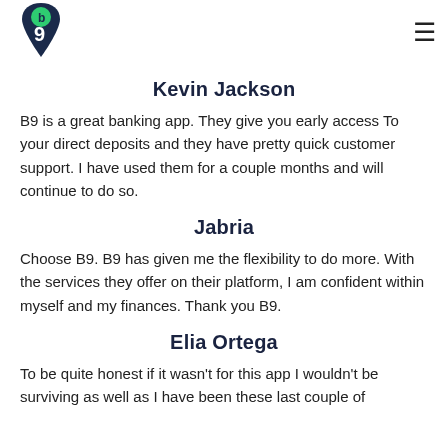[Figure (logo): B9 banking app logo: dark navy shield/pin shape with a green circle containing letter b and a large 9]
Kevin Jackson
B9 is a great banking app. They give you early access To your direct deposits and they have pretty quick customer support. I have used them for a couple months and will continue to do so.
Jabria
Choose B9. B9 has given me the flexibility to do more. With the services they offer on their platform, I am confident within myself and my finances. Thank you B9.
Elia Ortega
To be quite honest if it wasn't for this app I wouldn't be surviving as well as I have been these last couple of